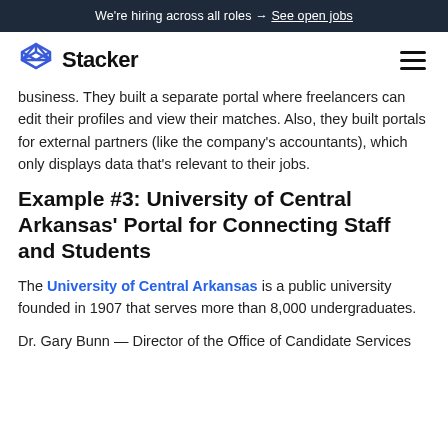We're hiring across all roles → See open jobs
[Figure (logo): Stacker logo with diamond/layers icon and wordmark 'Stacker']
business. They built a separate portal where freelancers can edit their profiles and view their matches. Also, they built portals for external partners (like the company's accountants), which only displays data that's relevant to their jobs.
Example #3: University of Central Arkansas' Portal for Connecting Staff and Students
The University of Central Arkansas is a public university founded in 1907 that serves more than 8,000 undergraduates.
Dr. Gary Bunn — Director of the Office of Candidate Services